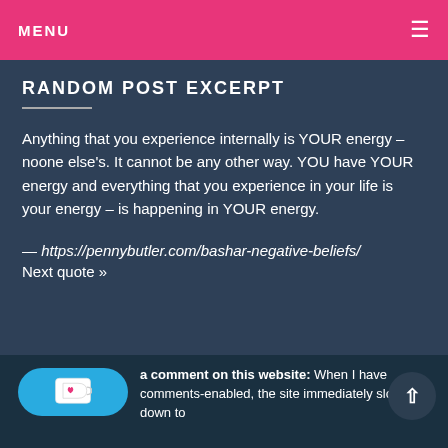MENU
RANDOM POST EXCERPT
Anything that you experience internally is YOUR energy – noone else's. It cannot be any other way. YOU have YOUR energy and everything that you experience in your life is your energy – is happening in YOUR energy.
— https://pennybutler.com/bashar-negative-beliefs/
Next quote »
a comment on this website: When I have comments-enabled, the site immediately slows-down to